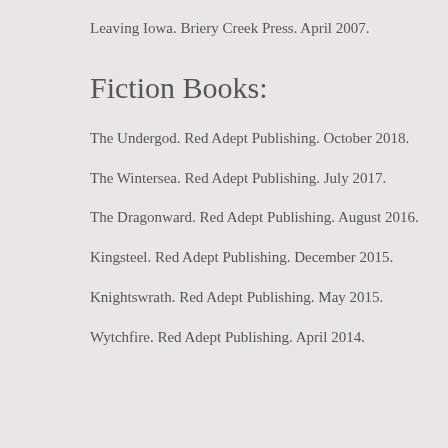Leaving Iowa. Briery Creek Press. April 2007.
Fiction Books:
The Undergod. Red Adept Publishing. October 2018.
The Wintersea. Red Adept Publishing. July 2017.
The Dragonward. Red Adept Publishing. August 2016.
Kingsteel. Red Adept Publishing. December 2015.
Knightswrath. Red Adept Publishing. May 2015.
Wytchfire. Red Adept Publishing. April 2014.